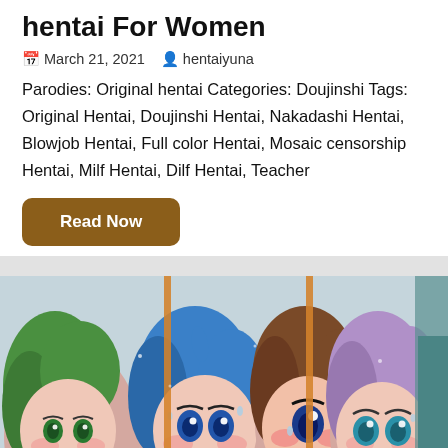hentai For Women
March 21, 2021   hentaiyuna
Parodies: Original hentai Categories: Doujinshi Tags: Original Hentai, Doujinshi Hentai, Nakadashi Hentai, Blowjob Hentai, Full color Hentai, Mosaic censorship Hentai, Milf Hentai, Dilf Hentai, Teacher
Read Now
[Figure (illustration): Anime-style illustration showing four female characters with different hair colors (green, blue, brown, purple/lavender, teal) divided by orange vertical panel dividers. Characters have large expressive eyes and appear to be blushing.]